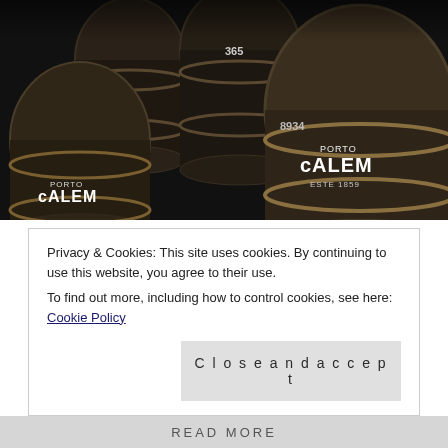[Figure (photo): Dark wine cellar with large wooden barrels labeled 'PORTO CALEM ESTE 1859', numbered barrels (365, 8934, etc.) stacked in rows]
There is something about wine tasting that is just so relaxing. Hmmm, wonder what it is? Better than going wine tasting at home, is wine tasting around the world. We have done some fabulous wine tasting with family and
Privacy & Cookies: This site uses cookies. By continuing to use this website, you agree to their use.
To find out more, including how to control cookies, see here: Cookie Policy
Close and accept
READ MORE